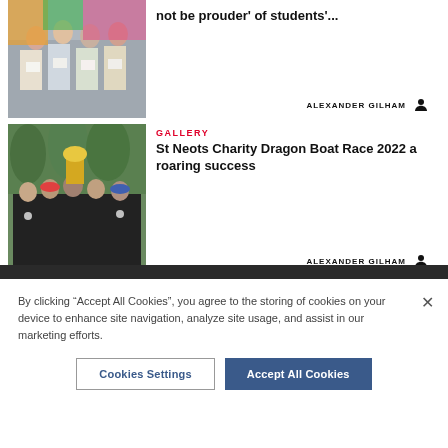[Figure (photo): Group of students holding papers/certificates, colorful background]
not be prouder' of students'...
ALEXANDER GILHAM
[Figure (photo): Group of people in black t-shirts celebrating, holding trophy at Dragon Boat Race 2022]
GALLERY
St Neots Charity Dragon Boat Race 2022 a roaring success
ALEXANDER GILHAM
By clicking “Accept All Cookies”, you agree to the storing of cookies on your device to enhance site navigation, analyze site usage, and assist in our marketing efforts.
Cookies Settings
Accept All Cookies